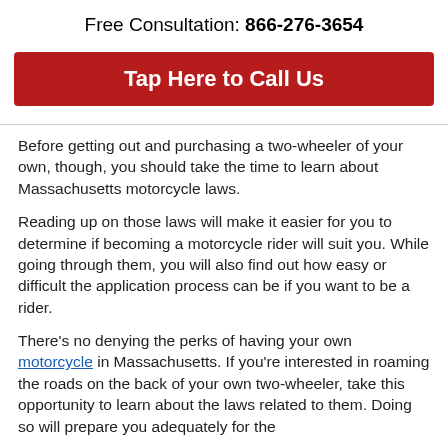Free Consultation: 866-276-3654
[Figure (other): Red button: Tap Here to Call Us]
Before getting out and purchasing a two-wheeler of your own, though, you should take the time to learn about Massachusetts motorcycle laws.
Reading up on those laws will make it easier for you to determine if becoming a motorcycle rider will suit you. While going through them, you will also find out how easy or difficult the application process can be if you want to be a rider.
There’s no denying the perks of having your own motorcycle in Massachusetts. If you’re interested in roaming the roads on the back of your own two-wheeler, take this opportunity to learn about the laws related to them. Doing so will prepare you adequately for the